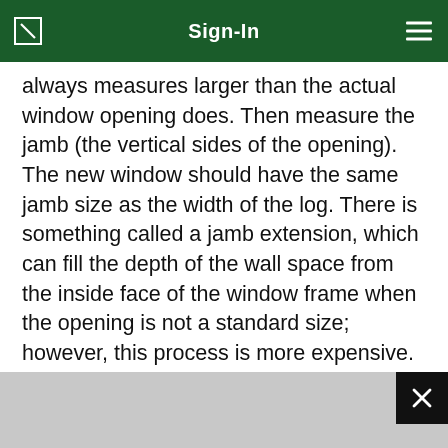Sign-In
always measures larger than the actual window opening does. Then measure the jamb (the vertical sides of the opening). The new window should have the same jamb size as the width of the log. There is something called a jamb extension, which can fill the depth of the wall space from the inside face of the window frame when the opening is not a standard size; however, this process is more expensive. It's better for your contractor and your budget to buy a window with the correct jamb and rough